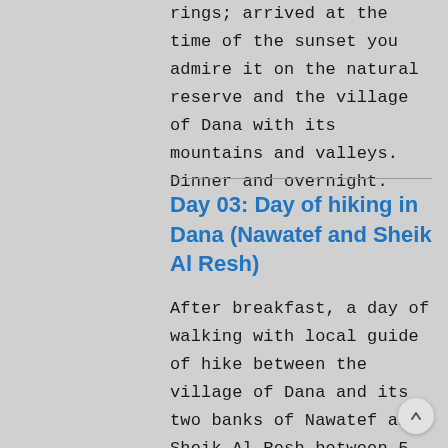rings; arrived at the time of the sunset you admire it on the natural reserve and the village of Dana with its mountains and valleys. Dinner and overnight.
Day 03: Day of hiking in Dana (Nawatef and Sheik Al Resh)
After breakfast, a day of walking with local guide of hike between the village of Dana and its two banks of Nawatef and Sheik Al Resh between 5 and 6 hours of average easy level, Nawatef allows